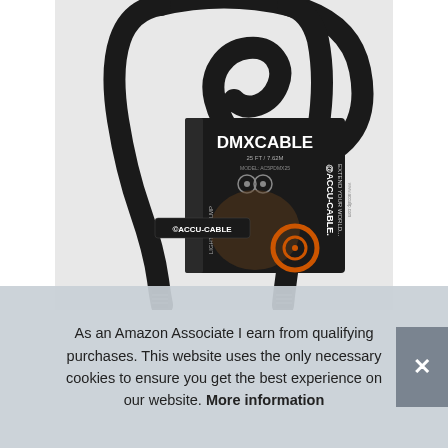[Figure (photo): Product photo of an Accu-Cable DMX Cable, 25FT / 7.62M, coiled black cable with brand tag label showing 'DMXCABLE', 'ACCU-CABLE. EXTEND YOUR WORLD...' branding with orange spiral logo, Velcro strap labeled '©ACCU-CABLE']
As an Amazon Associate I earn from qualifying purchases. This website uses the only necessary cookies to ensure you get the best experience on our website. More information